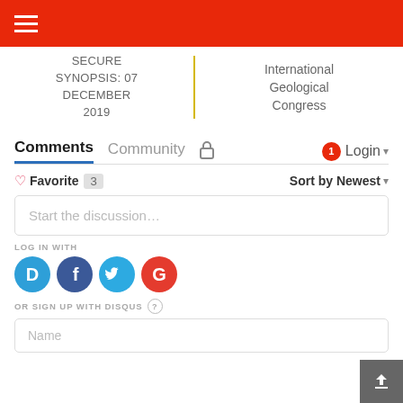☰ (hamburger menu)
SECURE SYNOPSIS: 07 DECEMBER 2019
International Geological Congress
Comments   Community   🔒   1   Login ▾
♡ Favorite  3   Sort by Newest ▾
Start the discussion…
LOG IN WITH
[Figure (logo): Social login icons: Disqus (blue D), Facebook (dark blue f), Twitter (light blue bird), Google (red G)]
OR SIGN UP WITH DISQUS ?
Name